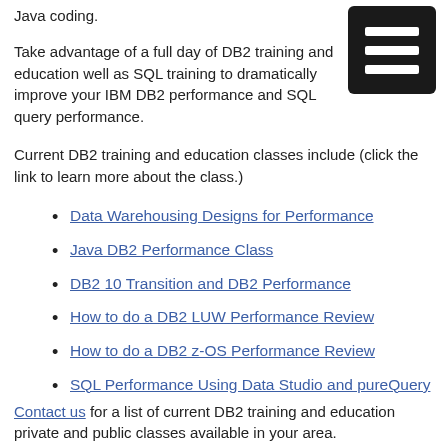Java coding.
[Figure (other): Black square menu/hamburger icon with three horizontal white lines]
Take advantage of a full day of DB2 training and education well as SQL training to dramatically improve your IBM DB2 performance and SQL query performance.
Current DB2 training and education classes include (click the link to learn more about the class.)
Data Warehousing Designs for Performance
Java DB2 Performance Class
DB2 10 Transition and DB2 Performance
How to do a DB2 LUW Performance Review
How to do a DB2 z-OS Performance Review
SQL Performance Using Data Studio and pureQuery
Contact us for a list of current DB2 training and education private and public classes available in your area.